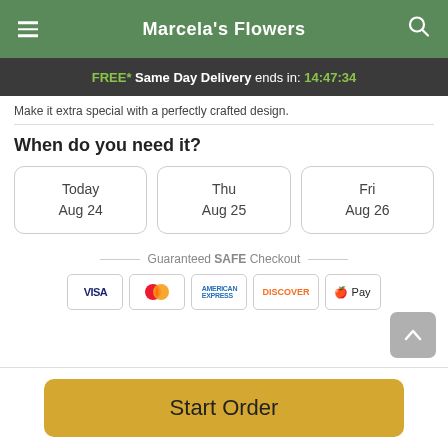Marcela's Flowers
FREE* Same Day Delivery ends in: 14:47:34
Make it extra special with a perfectly crafted design.
When do you need it?
Today
Aug 24
Thu
Aug 25
Fri
Aug 26
Guaranteed SAFE Checkout
Start Order